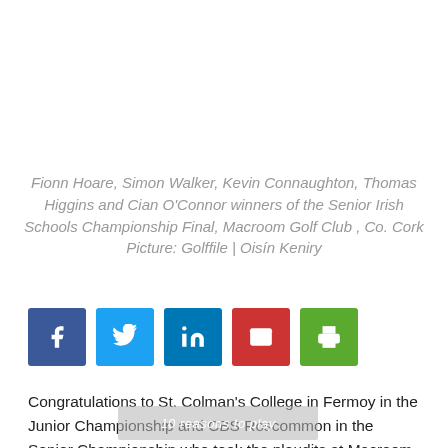Fionn Hoare, Simon Walker, Kevin Connaughton, Thomas Higgins and Cian O'Connor winners of the Senior Irish Schools Championship Final, Macroom Golf Club , Co. Cork Picture: Golffile | Oisín Keniry
[Figure (infographic): Social sharing buttons: Facebook (blue), Twitter (light blue), LinkedIn (dark blue), Email (red), Print (green)]
Congratulations to St. Colman's College in Fermoy in the Junior Championship and CBS Roscommon in the Senior Championship who took the plaudits at Macroom Golf